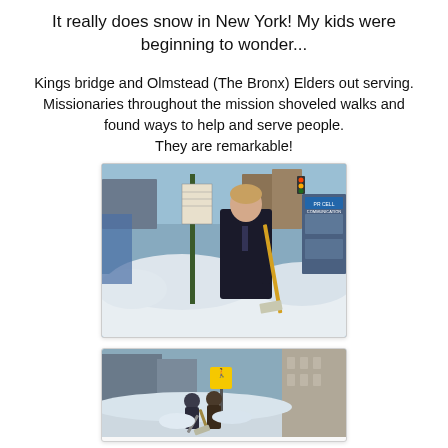It really does snow in New York!  My kids were beginning to wonder...
Kings bridge and Olmstead (The Bronx) Elders out serving. Missionaries throughout the mission shoveled walks and found ways to help and serve people. They are remarkable!
[Figure (photo): A young man in a dark coat and tie holding a snow shovel on a snowy New York City street corner, with piles of snow around him and city buildings and signs in the background.]
[Figure (photo): People shoveling snow on a New York City sidewalk with a pedestrian crossing sign visible and buildings in the background.]